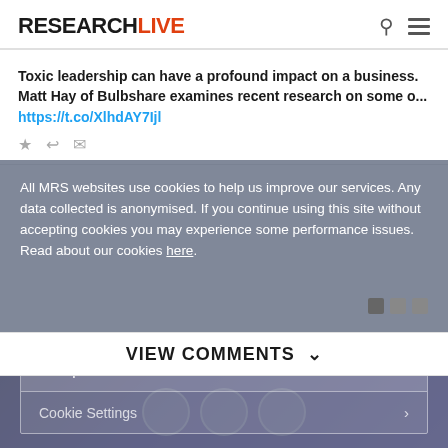RESEARCHLIVE
Toxic leadership can have a profound impact on a business. Matt Hay of Bulbshare examines recent research on some o... https://t.co/XlhdAY7Ijl
All MRS websites use cookies to help us improve our services. Any data collected is anonymised. If you continue using this site without accepting cookies you may experience some performance issues. Read about our cookies here.
Accept and continue
VIEW COMMENTS
Cookie Settings
[Figure (screenshot): Bottom strip with purple gradient background showing partial circular icons]